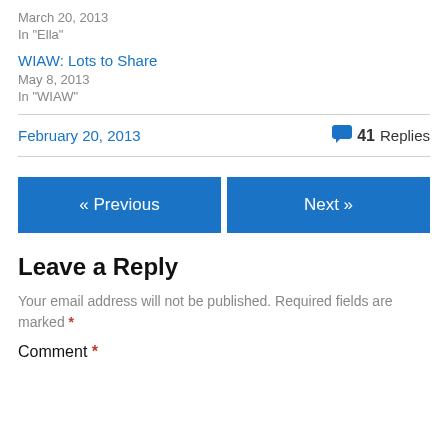March 20, 2013
In "Ella"
WIAW: Lots to Share
May 8, 2013
In "WIAW"
February 20, 2013
41 Replies
« Previous
Next »
Leave a Reply
Your email address will not be published. Required fields are marked *
Comment *